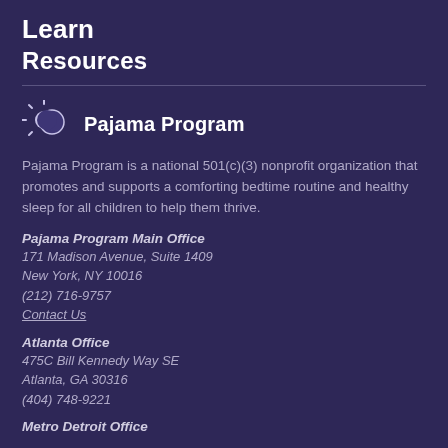Learn
Resources
[Figure (logo): Pajama Program logo — sun and moon icon in white/light purple]
Pajama Program
Pajama Program is a national 501(c)(3) nonprofit organization that promotes and supports a comforting bedtime routine and healthy sleep for all children to help them thrive.
Pajama Program Main Office
171 Madison Avenue, Suite 1409
New York, NY 10016
(212) 716-9757
Contact Us
Atlanta Office
475C Bill Kennedy Way SE
Atlanta, GA 30316
(404) 748-9221
Metro Detroit Office